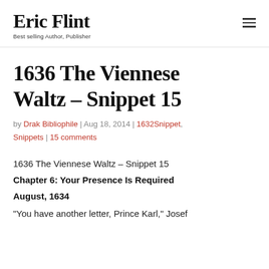Eric Flint
Best selling Author, Publisher
1636 The Viennese Waltz – Snippet 15
by Drak Bibliophile | Aug 18, 2014 | 1632Snippet, Snippets | 15 comments
1636 The Viennese Waltz – Snippet 15
Chapter 6: Your Presence Is Required
August, 1634
“You have another letter, Prince Karl,” Josef